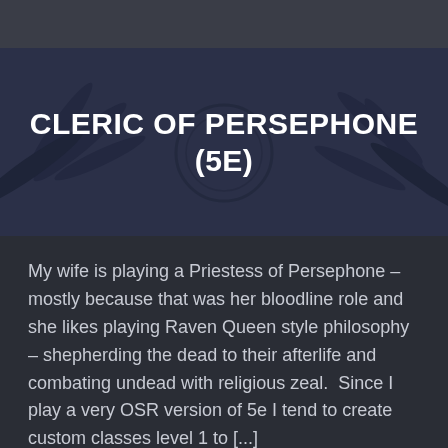[Figure (illustration): Dark hero banner with stylized leaf/plant silhouettes in dark navy tones forming a decorative background]
CLERIC OF PERSEPHONE (5E)
My wife is playing a Priestess of Persephone – mostly because that was her bloodline role and she likes playing Raven Queen style philosophy – shepherding the dead to their afterlife and combating undead with religious zeal.  Since I play a very OSR version of 5e I tend to create custom classes level 1 to [...]